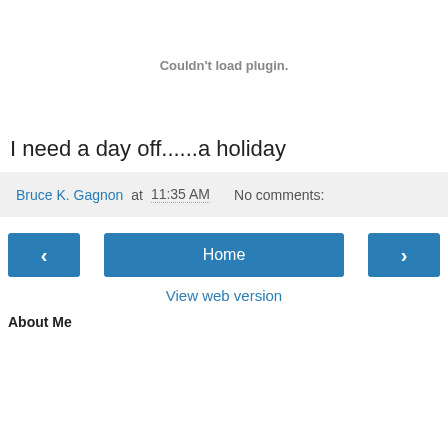Couldn't load plugin.
I need a day off......a holiday
Bruce K. Gagnon at 11:35 AM   No comments:
Home
View web version
About Me